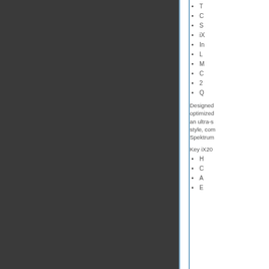T
C
S
iX
In
L
M
C
2
Q
Designed optimized an ultra-s style, com Spektrum
Key iX20
H
C
A
E